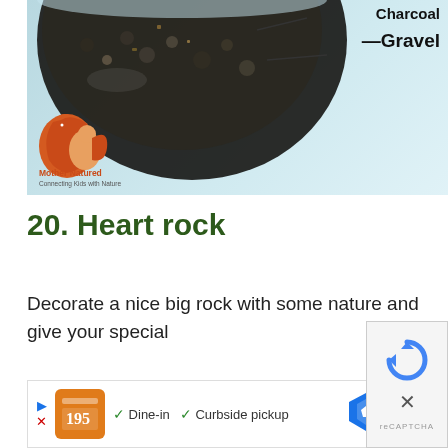[Figure (photo): Photo of a glass jar containing dark charcoal and gravel layers on a light blue background. Labels 'Charcoal' and 'Gravel' are annotated on the right side. Mother Natured logo (orange squirrel silhouette with woman figure) appears in the bottom-left of the image with text 'Mother Natured' and 'Connecting Kids with Nature'.]
20. Heart rock
Decorate a nice big rock with some nature and give your special
[Figure (screenshot): Advertisement bar showing a restaurant/food delivery service logo, checkmarks for 'Dine-in' and 'Curbside pickup', and a map/navigation icon. Also shows a partial reCAPTCHA widget with blue arrow icon and close button.]